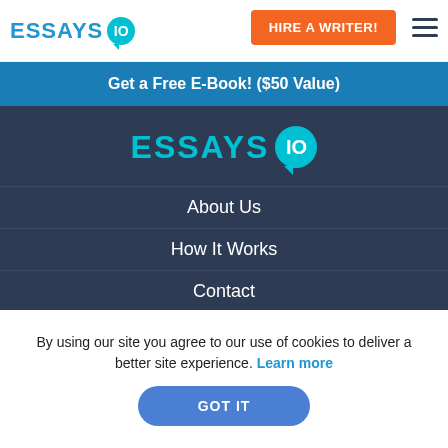[Figure (logo): Essays.io logo in header with blue text and teal speech bubble with '10']
HIRE A WRITER!
Get a Free E-Book! ($50 Value)
[Figure (logo): Large Essays.io logo centered in dark navigation area]
About Us
How It Works
Contact
FAQ
Donate Paper
By using our site you agree to our use of cookies to deliver a better site experience. Learn more
GOT IT